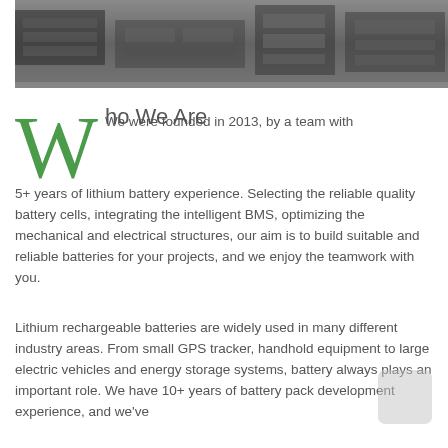[Figure (photo): Grayscale photo strip showing industrial/warehouse setting with equipment shelving]
Who We Are
We were founded in 2013, by a team with 5+ years of lithium battery experience. Selecting the reliable quality battery cells, integrating the intelligent BMS, optimizing the mechanical and electrical structures, our aim is to build suitable and reliable batteries for your projects, and we enjoy the teamwork with you.
Lithium rechargeable batteries are widely used in many different industry areas. From small GPS tracker, handhold equipment to large electric vehicles and energy storage systems, battery always plays an important role. We have 10+ years of battery pack development experience, and we've